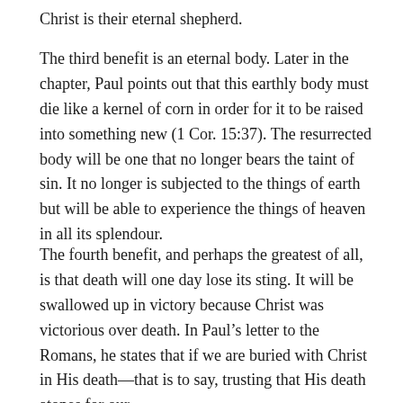Christ is their eternal shepherd.
The third benefit is an eternal body. Later in the chapter, Paul points out that this earthly body must die like a kernel of corn in order for it to be raised into something new (1 Cor. 15:37). The resurrected body will be one that no longer bears the taint of sin. It no longer is subjected to the things of earth but will be able to experience the things of heaven in all its splendour.
The fourth benefit, and perhaps the greatest of all, is that death will one day lose its sting. It will be swallowed up in victory because Christ was victorious over death. In Paul’s letter to the Romans, he states that if we are buried with Christ in His death—that is to say, trusting that His death atones for our